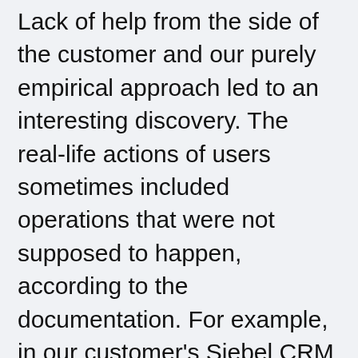Lack of help from the side of the customer and our purely empirical approach led to an interesting discovery. The real-life actions of users sometimes included operations that were not supposed to happen, according to the documentation. For example, in our customer's Siebel CRM configuration, it is established that they do not form reports or documentation, but in fact people did just that: they used Siebel to interact with overdue debtors, and it was convenient to upload their lists to call these customers. The experts did not even know about that and blindly denied the